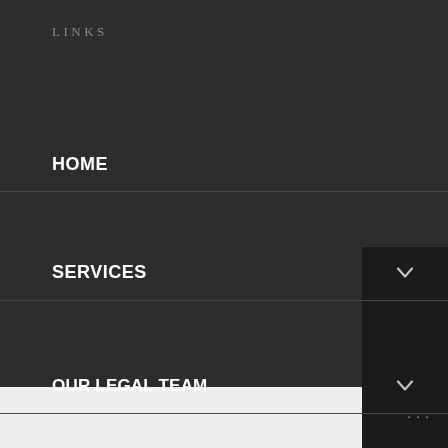LINKS
HOME
SERVICES
OUR LEGAL TEAM
CONTACT
ABOUT
TESTIMONIALS
REVIEW US ON GOOGLE
···